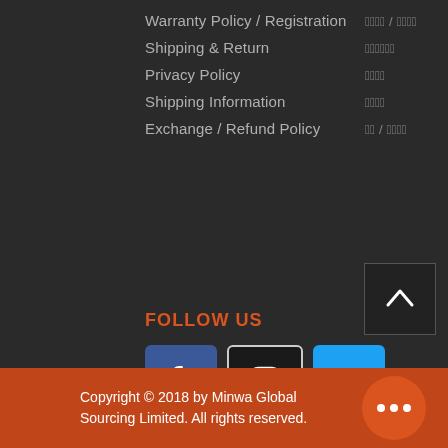Warranty Policy / Registration 보증 / 등록
Shipping & Return 배송비
Privacy Policy 정책
Shipping Information 정보
Exchange / Refund Policy 교환 / 환불정책
FOLLOW US
[Figure (illustration): Social media icons: Facebook (blue square with white f), Instagram (dark square with white camera icon and white border), Twitter (light blue square with white bird icon)]
Copyright © 2018 by Minwa Global Sourcing Limited. All rights reserved.